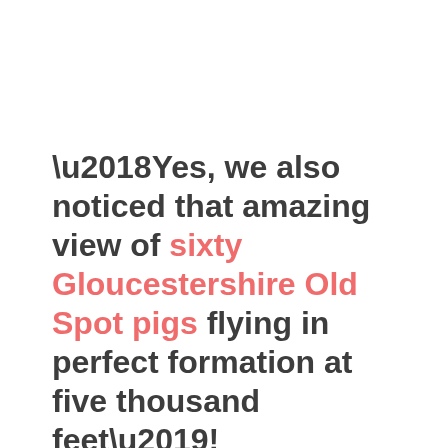‘Yes, we also noticed that amazing view of sixty Gloucestershire Old Spot pigs flying in perfect formation at five thousand feet’!